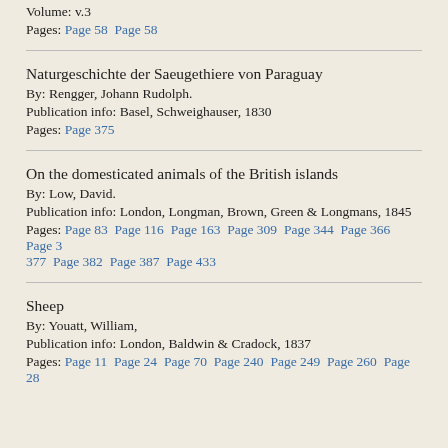Volume: v.3
Pages: Page 58  Page 58
Naturgeschichte der Saeugethiere von Paraguay
By: Rengger, Johann Rudolph.
Publication info: Basel, Schweighauser, 1830
Pages: Page 375
On the domesticated animals of the British islands
By: Low, David.
Publication info: London, Longman, Brown, Green & Longmans, 1845
Pages: Page 83  Page 116  Page 163  Page 309  Page 344  Page 366  Page 377  Page 382  Page 387  Page 433
Sheep
By: Youatt, William,
Publication info: London, Baldwin & Cradock, 1837
Pages: Page 11  Page 24  Page 70  Page 240  Page 249  Page 260  Page 288